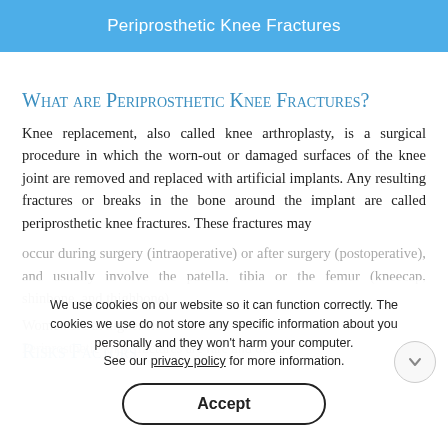Periprosthetic Knee Fractures
What are Periprosthetic Knee Fractures?
Knee replacement, also called knee arthroplasty, is a surgical procedure in which the worn-out or damaged surfaces of the knee joint are removed and replaced with artificial implants. Any resulting fractures or breaks in the bone around the implant are called periprosthetic knee fractures. These fractures may occur during surgery (intraoperative) or after surgery (postoperative), and usually involve the patella, tibia or the femur (kneecap, shinbone, and thighbone).
Women are at higher risk than men.
Risks Factors
We use cookies on our website so it can function correctly. The cookies we use do not store any specific information about you personally and they won't harm your computer. See our privacy policy for more information.